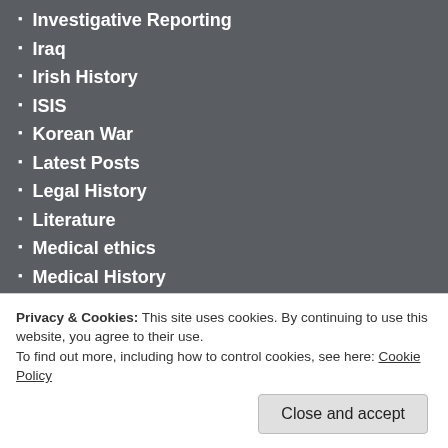Investigative Reporting
Iraq
Irish History
ISIS
Korean War
Latest Posts
Legal History
Literature
Medical ethics
Medical History
Memoir
Middle Eastern History
Military History
Modern European History
Music
Mystery/Thrillers
National Parks
Privacy & Cookies: This site uses cookies. By continuing to use this website, you agree to their use.
To find out more, including how to control cookies, see here: Cookie Policy
Close and accept